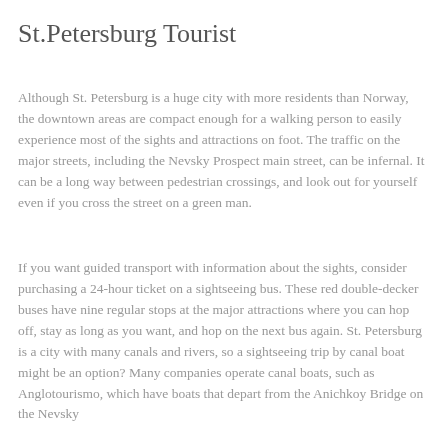St.Petersburg Tourist
Although St. Petersburg is a huge city with more residents than Norway, the downtown areas are compact enough for a walking person to easily experience most of the sights and attractions on foot. The traffic on the major streets, including the Nevsky Prospect main street, can be infernal. It can be a long way between pedestrian crossings, and look out for yourself even if you cross the street on a green man.
If you want guided transport with information about the sights, consider purchasing a 24-hour ticket on a sightseeing bus. These red double-decker buses have nine regular stops at the major attractions where you can hop off, stay as long as you want, and hop on the next bus again. St. Petersburg is a city with many canals and rivers, so a sightseeing trip by canal boat might be an option? Many companies operate canal boats, such as Anglotourismo, which have boats that depart from the Anichkoy Bridge on the Nevsky